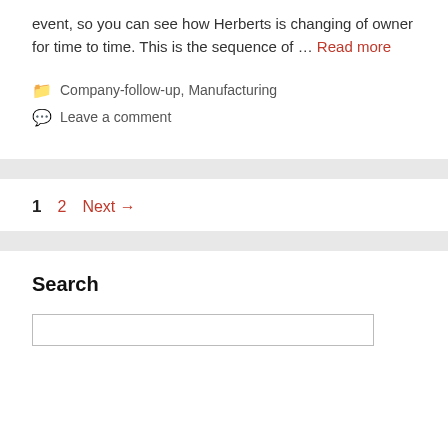event, so you can see how Herberts is changing of owner for time to time. This is the sequence of … Read more
Company-follow-up, Manufacturing
Leave a comment
1  2  Next →
Search